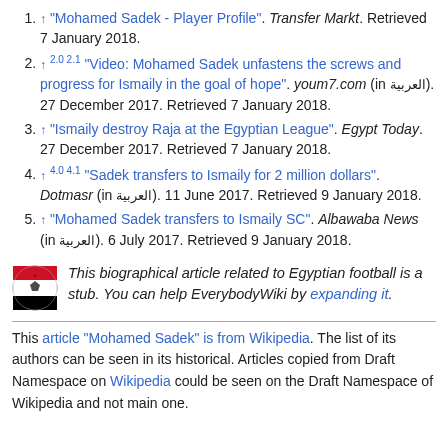↑ "Mohamed Sadek - Player Profile". Transfer Markt. Retrieved 7 January 2018.
↑ 2.0 2.1 "Video: Mohamed Sadek unfastens the screws and progress for Ismaily in the goal of hope". youm7.com (in العربية). 27 December 2017. Retrieved 7 January 2018.
↑ "Ismaily destroy Raja at the Egyptian League". Egypt Today. 27 December 2017. Retrieved 7 January 2018.
↑ 4.0 4.1 "Sadek transfers to Ismaily for 2 million dollars". Dotmasr (in العربية). 11 June 2017. Retrieved 9 January 2018.
↑ "Mohamed Sadek transfers to Ismaily SC". Albawaba News (in العربية). 6 July 2017. Retrieved 9 January 2018.
This biographical article related to Egyptian football is a stub. You can help EverybodyWiki by expanding it.
This article "Mohamed Sadek" is from Wikipedia. The list of its authors can be seen in its historical. Articles copied from Draft Namespace on Wikipedia could be seen on the Draft Namespace of Wikipedia and not main one.